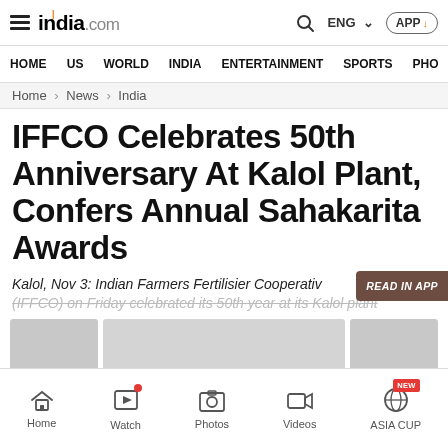india.com — HOME | US | WORLD | INDIA | ENTERTAINMENT | SPORTS | PHO
Home > News > India
IFFCO Celebrates 50th Anniversary At Kalol Plant, Confers Annual Sahakarita Awards
Kalol, Nov 3: Indian Farmers Fertiliser Cooperative (IFFCO) on Friday celebrated its 50th year at its Kalol plant...
Home | Watch | Photos | Videos | ASIA CUP